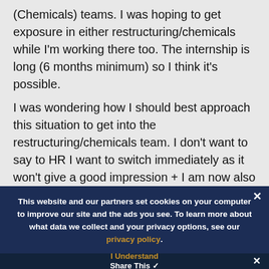(Chemicals) teams. I was hoping to get exposure in either restructuring/chemicals while I'm working there too. The internship is long (6 months minimum) so I think it's possible.
I was wondering how I should best approach this situation to get into the restructuring/chemicals team. I don't want to say to HR I want to switch immediately as it won't give a good impression + I am now also interested in DCM after researching. I have already asked HR if I could move to another M&A team (once I found out allocation of groups) earlier and they said I
This website and our partners set cookies on your computer to improve our site and the ads you see. To learn more about what data we collect and your privacy options, see our privacy policy.
I Understand
Share This ✓